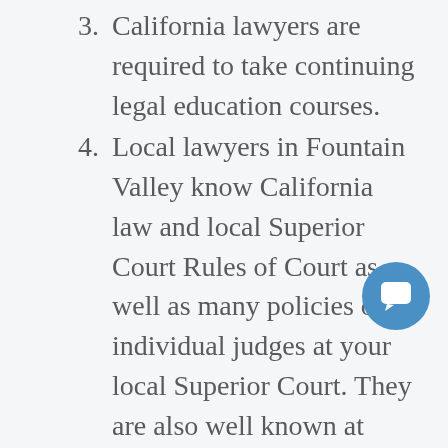3. California lawyers are required to take continuing legal education courses.
4. Local lawyers in Fountain Valley know California law and local Superior Court Rules of Court as well as many policies of individual judges at your local Superior Court. They are also well known at your local Superior Court.
5. The younger generation of California lawyers tends to be more competitive than lawyers have been in the past.
6. California lawyers are now